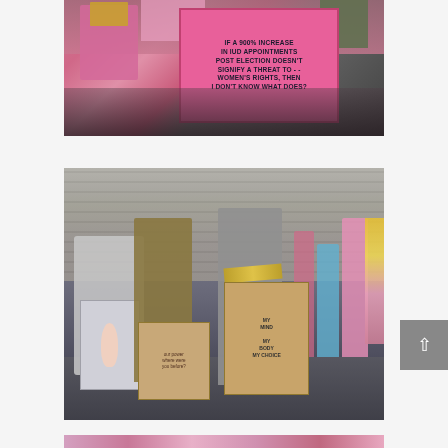[Figure (photo): Photo of protest march attendees at a Women's March. A person holds a large pink sign reading 'IF A 900% INCREASE IN IUD APPOINTMENTS POST ELECTION DOESN'T SIGNIFY A THREAT TO WOMEN'S RIGHTS, THEN I DON'T KNOW WHAT DOES?' Other participants wearing pink are visible in the background.]
[Figure (photo): Photo of two women posing at a Women's March. One wears a sash and holds a cardboard sign reading 'MY MIND MY BODY MY CHOICE'. The other holds a smaller handwritten cardboard sign. A stroller with a baby doll is visible on the left. Other march participants in pink hats are visible in the background.]
[Figure (photo): Partial photo at bottom of page showing the top portion of another Women's March scene with participants wearing pink.]